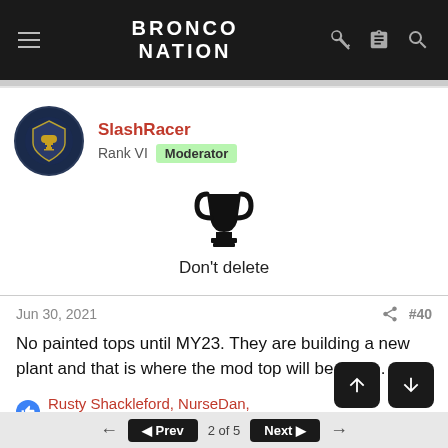BRONCO NATION
SlashRacer
Rank VI  Moderator
[Figure (illustration): Trophy icon (cup) in black]
Don't delete
Jun 30, 2021	#40
No painted tops until MY23. They are building a new plant and that is where the mod top will be made.
Rusty Shackleford, NurseDan, AcesandEights and 4 others